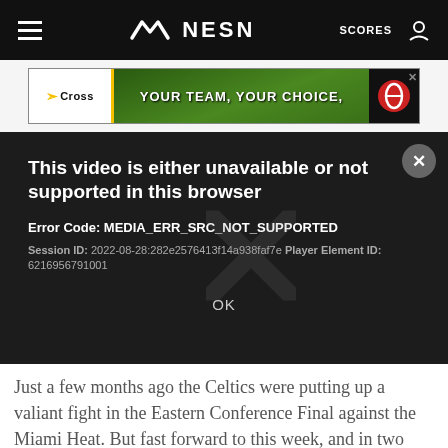NESN — SCORES
[Figure (screenshot): NESN website navigation bar with hamburger menu, NESN logo with chevron/wave icon, SCORES link, and user account icon on black background]
[Figure (screenshot): Advertisement banner: Cross Insurance with arrow logo on white left panel, 'YOUR TEAM, YOUR CHOICE,' text over baseball field image, Red Sox logo on right, with close X button]
[Figure (screenshot): Video player error dialog on dark background. Shows close X button in top right. Error message: 'This video is either unavailable or not supported in this browser'. Error Code: MEDIA_ERR_SRC_NOT_SUPPORTED. Session ID: 2022-08-28:282e2576413f14a938faf7e Player Element ID: 6216956791001. OK button at bottom center.]
Just a few months ago the Celtics were putting up a valiant fight in the Eastern Conference Final against the Miami Heat. But fast forward to this week, and in two listless